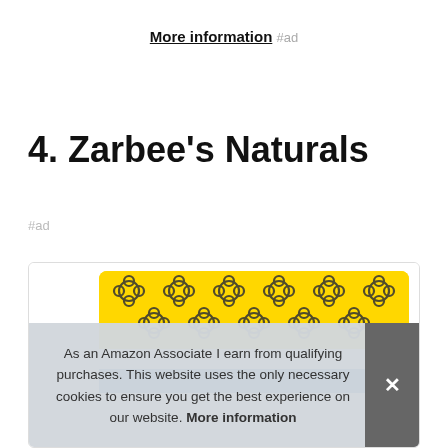More information #ad
4. Zarbee's Naturals
#ad
[Figure (photo): Zarbee's Naturals product container with yellow top band featuring bee logo pattern and blue bottom strip, shown inside a card with rounded border.]
As an Amazon Associate I earn from qualifying purchases. This website uses the only necessary cookies to ensure you get the best experience on our website. More information